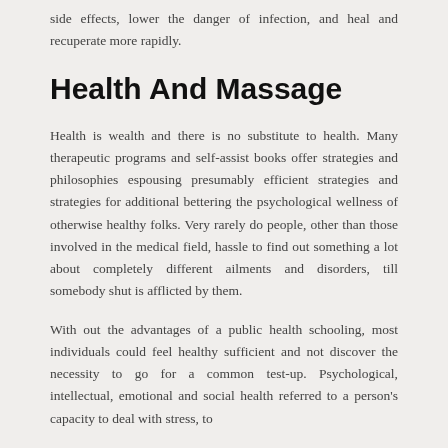side effects, lower the danger of infection, and heal and recuperate more rapidly.
Health And Massage
Health is wealth and there is no substitute to health. Many therapeutic programs and self-assist books offer strategies and philosophies espousing presumably efficient strategies and strategies for additional bettering the psychological wellness of otherwise healthy folks. Very rarely do people, other than those involved in the medical field, hassle to find out something a lot about completely different ailments and disorders, till somebody shut is afflicted by them.
With out the advantages of a public health schooling, most individuals could feel healthy sufficient and not discover the necessity to go for a common test-up. Psychological, intellectual, emotional and social health referred to a person's capacity to deal with stress, to